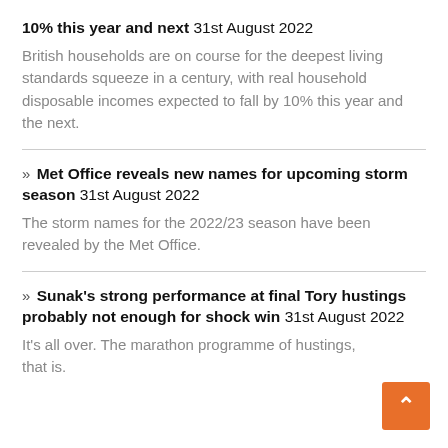10% this year and next 31st August 2022
British households are on course for the deepest living standards squeeze in a century, with real household disposable incomes expected to fall by 10% this year and the next.
» Met Office reveals new names for upcoming storm season 31st August 2022
The storm names for the 2022/23 season have been revealed by the Met Office.
» Sunak's strong performance at final Tory hustings probably not enough for shock win 31st August 2022
It's all over. The marathon programme of hustings, that is.